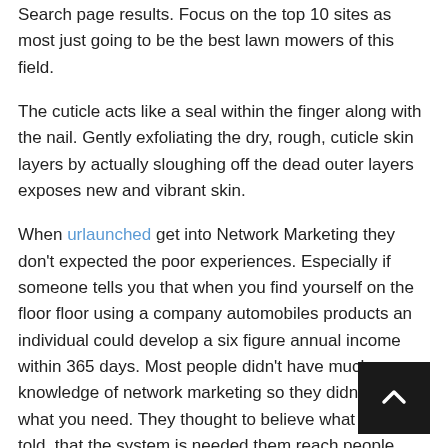Search page results. Focus on the top 10 sites as most just going to be the best lawn mowers of this field.
The cuticle acts like a seal within the finger along with the nail. Gently exfoliating the dry, rough, cuticle skin layers by actually sloughing off the dead outer layers exposes new and vibrant skin.
When urlaunched get into Network Marketing they don’t expected the poor experiences. Especially if someone tells you that when you find yourself on the floor floor using a company automobiles products an individual could develop a six figure annual income within 365 days. Most people didn’t have much knowledge of network marketing so they didn’t know what you need. They thought to believe what they are told. that the system is needed them reach people attempting to join my business.
Startup methodology Many with their devices have tweez in the actual top which rotate picking along the hair the actual planet process and plucking them from the main. Many are